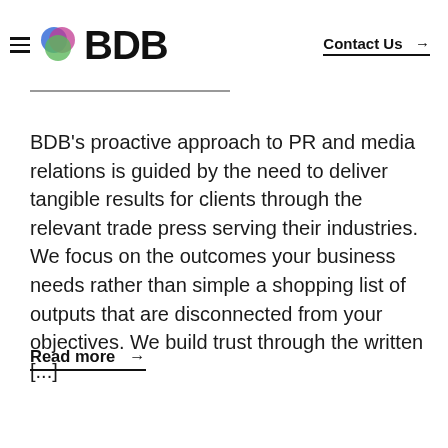BDB — Contact Us →
BDB's proactive approach to PR and media relations is guided by the need to deliver tangible results for clients through the relevant trade press serving their industries. We focus on the outcomes your business needs rather than simple a shopping list of outputs that are disconnected from your objectives. We build trust through the written [...]
Read more →